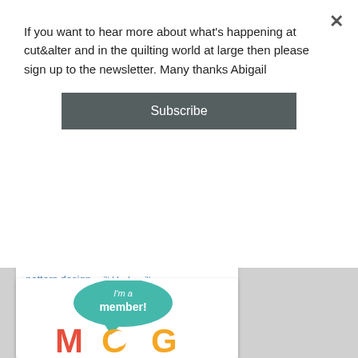If you want to hear more about what's happening at cut&alter and in the quilting world at large then please sign up to the newsletter. Many thanks Abigail
[Figure (other): Subscribe button - dark grey rounded rectangle with white text 'Subscribe']
pattern design quilt block quilt design quilt shows quilting quilting bee quilts rainbow quilt reading rulerwork seasons show quilt summer sampler 2016 swaps technique textile art tutorial ukqu WIP
[Figure (logo): MOG membership badge with speech bubble saying 'I'm a member!' and colorful MOG letters in red, yellow, and orange/teal]